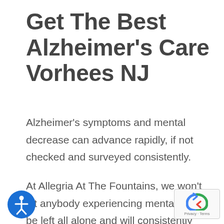Get The Best Alzheimer's Care Vorhees NJ
Alzheimer's symptoms and mental decrease can advance rapidly, if not checked and surveyed consistently.
At Allegria At The Fountains, we won't let anybody experiencing mental decay be left all alone and will consistently keep refreshed on